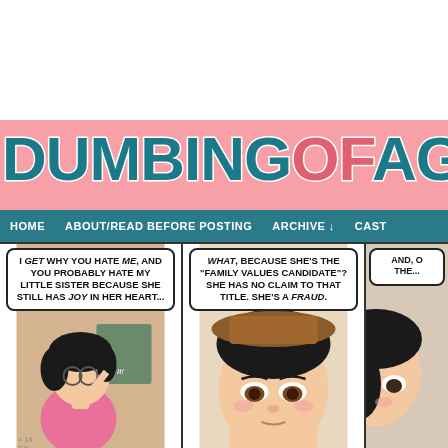[Figure (illustration): White space at top of page, cropped website header]
DUMBING OF AGE
HOME   ABOUT/READ BEFORE POSTING   ARCHIVE   CAST
[Figure (illustration): Comic strip panel 1: female character with glasses and dark hair adjusting glasses, speech bubble reads: I GET why you hate ME, AND YOU PROBABLY HATE MY LITTLE SISTER BECAUSE SHE STILL HAS JOY IN HER HEART... Background shows chalkboard with 'Do It!']
[Figure (illustration): Comic strip panel 2: close-up of male character with brown hat and dark hair, speech bubble reads: WHAT, BECAUSE SHE'S THE 'FAMILY VALUES CANDIDATE'? SHE HAS NO CLAIM TO THAT TITLE. SHE'S A FRAUD.]
[Figure (illustration): Comic strip panel 3: partial view of dark-haired character, speech bubble begins: AND, O... THE...]